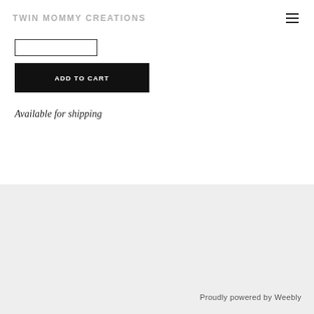TWIN MOMMY CREATIONS
ADD TO CART
Available for shipping
Proudly powered by Weebly